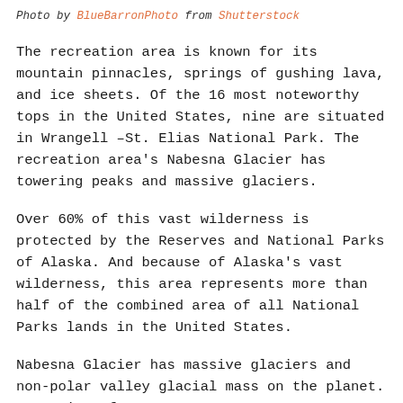Photo by BlueBarronPhoto from Shutterstock
The recreation area is known for its mountain pinnacles, springs of gushing lava, and ice sheets. Of the 16 most noteworthy tops in the United States, nine are situated in Wrangell –St. Elias National Park. The recreation area's Nabesna Glacier has towering peaks and massive glaciers.
Over 60% of this vast wilderness is protected by the Reserves and National Parks of Alaska. And because of Alaska's vast wilderness, this area represents more than half of the combined area of all National Parks lands in the United States.
Nabesna Glacier has massive glaciers and non-polar valley glacial mass on the planet. A portion of